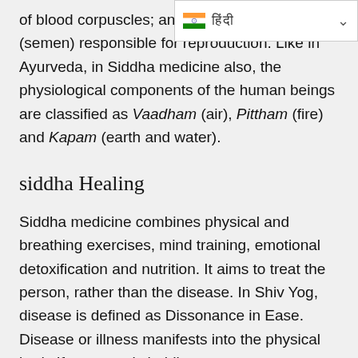[Figure (screenshot): Dropdown UI element showing Indian flag and Hindi text with a chevron arrow]
of blood corpuscles; and th... (semen) responsible for reproduction. Like in Ayurveda, in Siddha medicine also, the physiological components of the human beings are classified as Vaadham (air), Pittham (fire) and Kapam (earth and water).
siddha Healing
Siddha medicine combines physical and breathing exercises, mind training, emotional detoxification and nutrition. It aims to treat the person, rather than the disease. In Shiv Yog, disease is defined as Dissonance in Ease. Disease or illness manifests into the physical body If a person is holding onto a trauma or anything else that causes unhappiness (either consciously or